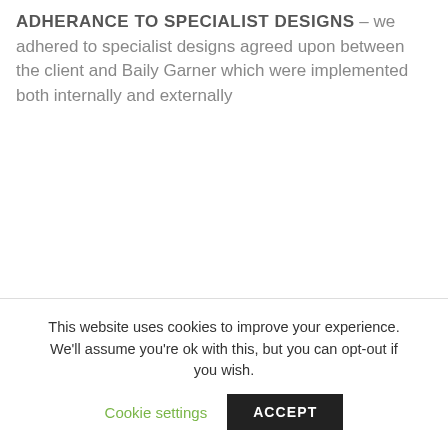ADHERANCE TO SPECIALIST DESIGNS – we adhered to specialist designs agreed upon between the client and Baily Garner which were implemented both internally and externally
This website uses cookies to improve your experience. We'll assume you're ok with this, but you can opt-out if you wish. Cookie settings ACCEPT